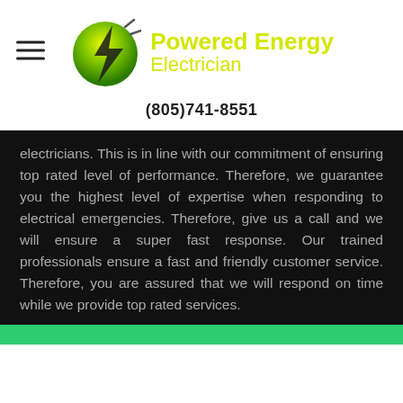[Figure (logo): Powered Energy Electrician logo with green circle and lightning bolt, hamburger menu icon on left]
(805)741-8551
electricians. This is in line with our commitment of ensuring top rated level of performance. Therefore, we guarantee you the highest level of expertise when responding to electrical emergencies. Therefore, give us a call and we will ensure a super fast response. Our trained professionals ensure a fast and friendly customer service. Therefore, you are assured that we will respond on time while we provide top rated services.